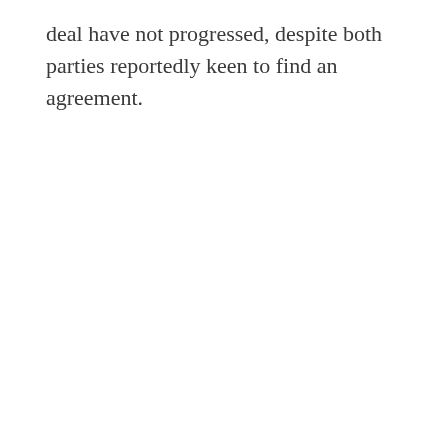deal have not progressed, despite both parties reportedly keen to find an agreement.